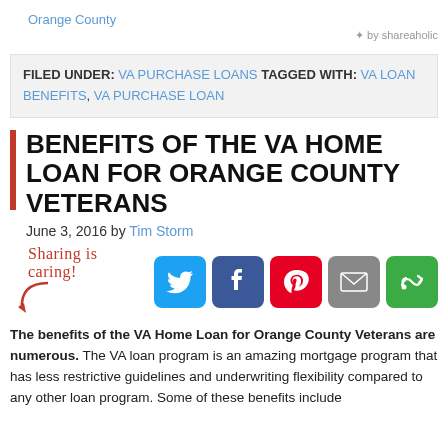Orange County
by shareaholic
FILED UNDER: VA PURCHASE LOANS TAGGED WITH: VA LOAN BENEFITS, VA PURCHASE LOAN
BENEFITS OF THE VA HOME LOAN FOR ORANGE COUNTY VETERANS
June 3, 2016 by Tim Storm
[Figure (infographic): Sharing is caring! social share buttons for Twitter, Facebook, Pinterest, Email, and More options]
The benefits of the VA Home Loan for Orange County Veterans are numerous. The VA loan program is an amazing mortgage program that has less restrictive guidelines and underwriting flexibility compared to any other loan program. Some of these benefits include